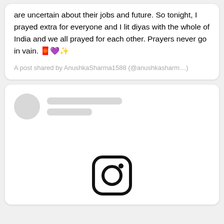bravelâ¦ to protect the lives of other beings, for those who are uncertain about their jobs and future. So tonight, I prayed extra for everyone and I lit diyas with the whole of India and we all prayed for each other. Prayers never go in vain. 🧧💜✨
A post shared by AnushkaSharma1588 (@anushkasharm…)
[Figure (screenshot): Instagram embed loading skeleton with avatar placeholder, two grey line placeholders for username and handle, large white content area, and Instagram camera logo at the bottom center.]